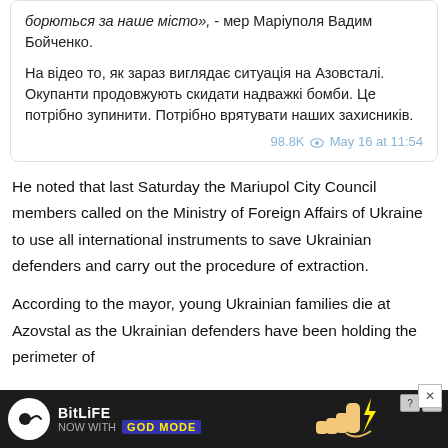борються за наше місто», - мер Маріуполя Вадим Бойченко.

На відео то, як зараз виглядає ситуація на Азовсталі. Окупанти продовжують скидати надважкі бомби. Це потрібно зупинити. Потрібно врятувати наших захисників.

98.8K  May 16 at 11:54
He noted that last Saturday the Mariupol City Council members called on the Ministry of Foreign Affairs of Ukraine to use all international instruments to save Ukrainian defenders and carry out the procedure of extraction.
According to the mayor, young Ukrainian families die at Azovstal as the Ukrainian defenders have been holding the perimeter of
[Figure (infographic): BitLife advertisement banner with dark background, BitLife logo, 'NOW WITH GOD MODE' text in yellow on blue, and pointing finger graphic]